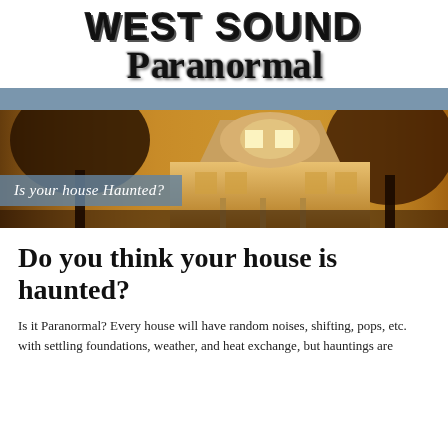WEST SOUND Paranormal
[Figure (photo): Navigation bar (steel blue) above a banner photo of an old haunted-style house at dusk with trees, with an overlay label reading 'Is your house Haunted?']
Do you think your house is haunted?
Is it Paranormal? Every house will have random noises, shifting, pops, etc. with settling foundations, weather, and heat exchange, but hauntings are